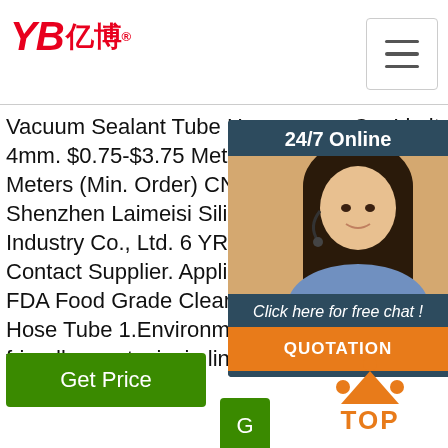YB亿博® [logo] [hamburger menu]
Vacuum Sealant Tube Hose 4mm. $0.75-$3.75 Meter. 100 Meters (Min. Order) CN Shenzhen Laimeisi Silicon Industry Co., Ltd. 6 YRS. 4.9 ( 7) Contact Supplier. Application of FDA Food Grade Clear Silicone Hose Tube 1.Environmentally friendly non-toxic, in line with ...
Co.,Limited is professional High Vacuum Pressure Silicone Hose suppliers from China. Quick shipping!
durable service to the tra fro fixe the the bra the
[Figure (screenshot): 24/7 Online chat widget with photo of woman wearing headset, 'Click here for free chat!' text, and orange QUOTATION button]
Get Price
Get Price
[Figure (logo): TOP button with orange triangle and dots design and the word TOP in orange]